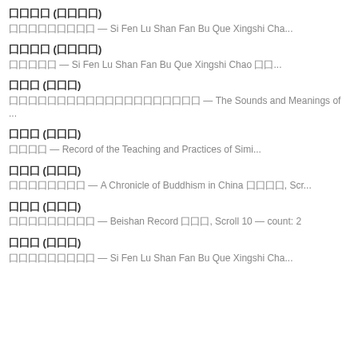囗囗囗囗 (囗囗囗囗)
囗囗囗囗囗囗囗囗囗 — Si Fen Lu Shan Fan Bu Que Xingshi Cha...
囗囗囗囗 (囗囗囗囗)
囗囗囗囗囗 — Si Fen Lu Shan Fan Bu Que Xingshi Chao 囗囗...
囗囗囗 (囗囗囗)
囗囗囗囗囗囗囗囗囗囗囗囗囗囗囗囗囗囗囗囗 — The Sounds and Meanings of ...
囗囗囗 (囗囗囗)
囗囗囗囗 — Record of the Teaching and Practices of Simi...
囗囗囗 (囗囗囗)
囗囗囗囗囗囗囗囗 — A Chronicle of Buddhism in China 囗囗囗囗, Scr...
囗囗囗 (囗囗囗)
囗囗囗囗囗囗囗囗囗 — Beishan Record 囗囗囗, Scroll 10 — count: 2
囗囗囗 (囗囗囗)
囗囗囗囗囗囗囗囗囗 — Si Fen Lu Shan Fan Bu Que Xingshi Cha...